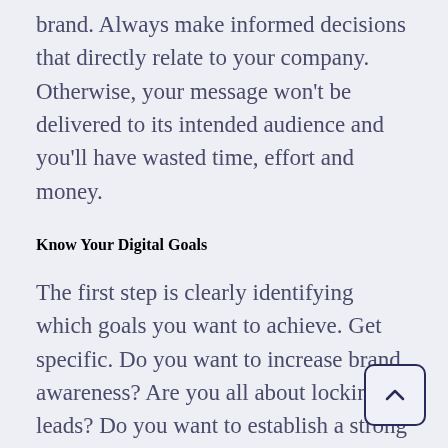brand. Always make informed decisions that directly relate to your company. Otherwise, your message won't be delivered to its intended audience and you'll have wasted time, effort and money.
Know Your Digital Goals
The first step is clearly identifying which goals you want to achieve. Get specific. Do you want to increase brand awareness? Are you all about locking in leads? Do you want to establish a strong network of influencers that can help you be discovered? How about pushing